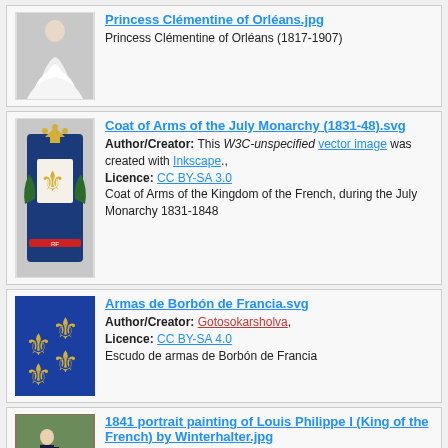Princess Clémentine of Orléans.jpg — Princess Clémentine of Orléans (1817-1907)
Coat of Arms of the July Monarchy (1831-48).svg — Author/Creator: This W3C-unspecified vector image was created with Inkscape., Licence: CC BY-SA 3.0 — Coat of Arms of the Kingdom of the French, during the July Monarchy 1831-1848
Armas de Borbón de Francia.svg — Author/Creator: Gotosokarsholva, Licence: CC BY-SA 4.0 — Escudo de armas de Borbón de Francia
1841 portrait painting of Louis Philippe I (King of the French) by Winterhalter.jpg — Louis-Philippe, King of the French from 1830 to 1848 (July Monarchy)